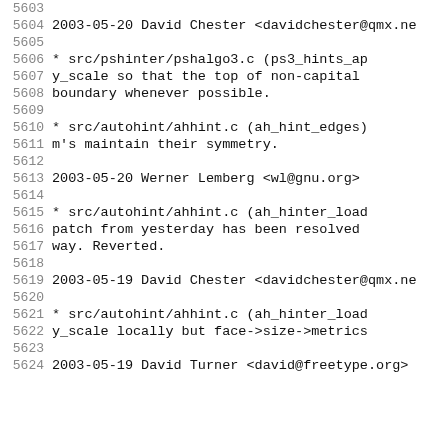5603
5604  2003-05-20  David Chester  <davidchester@qmx.ne
5605
5606          * src/pshinter/pshalgo3.c (ps3_hints_ap
5607          y_scale so that the top of non-capital
5608          boundary whenever possible.
5609
5610          * src/autohint/ahhint.c (ah_hint_edges)
5611          m's maintain their symmetry.
5612
5613  2003-05-20  Werner Lemberg  <wl@gnu.org>
5614
5615          * src/autohint/ahhint.c (ah_hinter_load
5616          patch from yesterday has been resolved
5617          way.  Reverted.
5618
5619  2003-05-19  David Chester  <davidchester@qmx.ne
5620
5621          * src/autohint/ahhint.c (ah_hinter_load
5622          y_scale locally but face->size->metrics
5623
5624  2003-05-19  David Turner  <david@freetype.org>